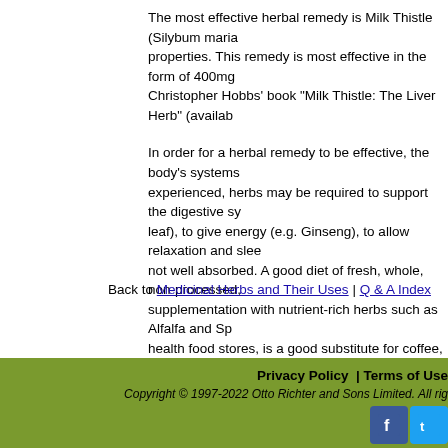The most effective herbal remedy is Milk Thistle (Silybum maria... properties. This remedy is most effective in the form of 400mg ... Christopher Hobbs' book "Milk Thistle: The Liver Herb" (availab...
In order for a herbal remedy to be effective, the body's systems... experienced, herbs may be required to support the digestive sy... leaf), to give energy (e.g. Ginseng), to allow relaxation and slee... not well absorbed. A good diet of fresh, whole, non-processed,... supplementation with nutrient-rich herbs such as Alfalfa and Sp... health food stores, is a good substitute for coffee, and helps liv...
Sleep is important to recovery. Daily activities should be arrang...
Back to Medicinal Herbs and Their Uses | Q & A Index
Privacy Policy | Terms of Use
Copyright © 1997-2022 Otto Richter and Sons Limited. All rig...